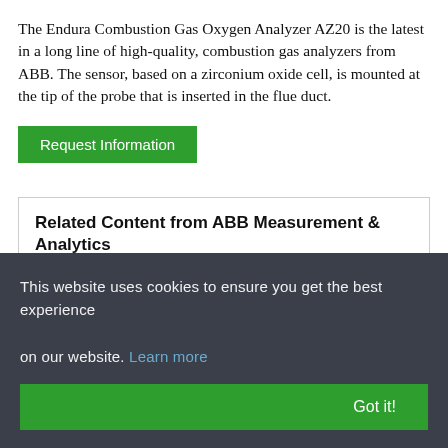The Endura Combustion Gas Oxygen Analyzer AZ20 is the latest in a long line of high-quality, combustion gas analyzers from ABB. The sensor, based on a zirconium oxide cell, is mounted at the tip of the probe that is inserted in the flue duct.
Request Information
Related Content from ABB Measurement & Analytics
Endura AZ20
This website uses cookies to ensure you get the best experience on our website. Learn more
Got it!